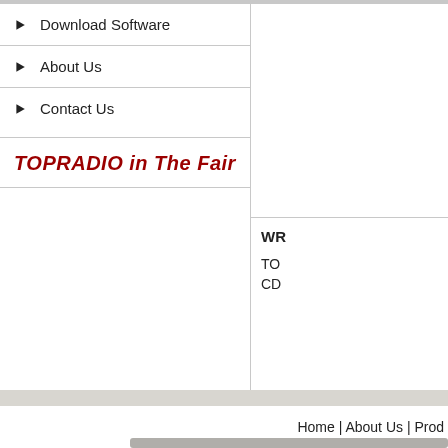Download Software
About Us
Contact Us
TOPRADIO in The Fair
WR
TO
CD
Home | About Us | Prod